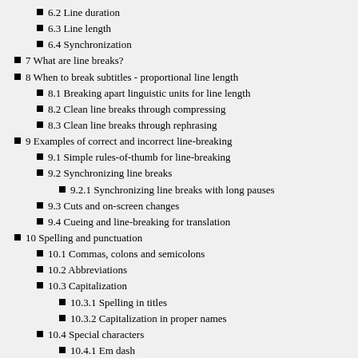6.2  Line duration
6.3  Line length
6.4  Synchronization
7  What are line breaks?
8  When to break subtitles - proportional line length
8.1  Breaking apart linguistic units for line length
8.2  Clean line breaks through compressing
8.3  Clean line breaks through rephrasing
9  Examples of correct and incorrect line-breaking
9.1  Simple rules-of-thumb for line-breaking
9.2  Synchronizing line breaks
9.2.1  Synchronizing line breaks with long pauses
9.3  Cuts and on-screen changes
9.4  Cueing and line-breaking for translation
10  Spelling and punctuation
10.1  Commas, colons and semicolons
10.2  Abbreviations
10.3  Capitalization
10.3.1  Spelling in titles
10.3.2  Capitalization in proper names
10.4  Special characters
10.4.1  Em dash
10.4.2  Accented letters
10.5  Spellchecker